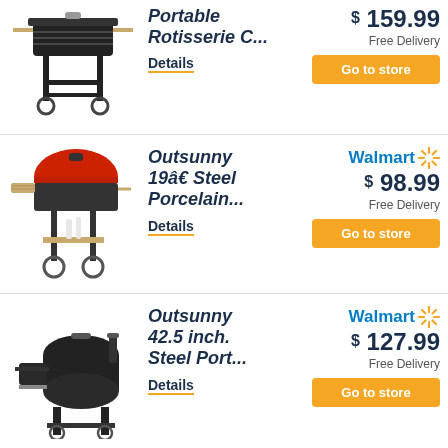[Figure (photo): Black Portable Rotisserie Charcoal grill on wheels]
Portable Rotisserie C...
Details
$ 159.99
Free Delivery
Go to store
[Figure (photo): Outsunny red-lidded charcoal grill with side shelves]
Outsunny 19â€¢ Steel Porcelain...
Details
Walmart $ 98.99
Free Delivery
Go to store
[Figure (photo): Outsunny 42.5 inch steel portable charcoal grill/smoker]
Outsunny 42.5 inch. Steel Port...
Details
Walmart $ 127.99
Free Delivery
Go to store
[Figure (photo): Partial product image at bottom of page]